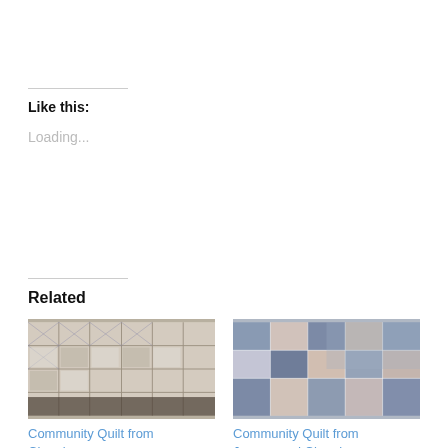Like this:
Loading...
Related
[Figure (photo): Community quilt with star pattern blocks in blue and white fabric, laid flat on a table]
Community Quilt from Cheryl
[Figure (photo): Community quilt with patchwork blocks in blue, pink and white fabric, draped over a surface]
Community Quilt from Joanne and Cheryl